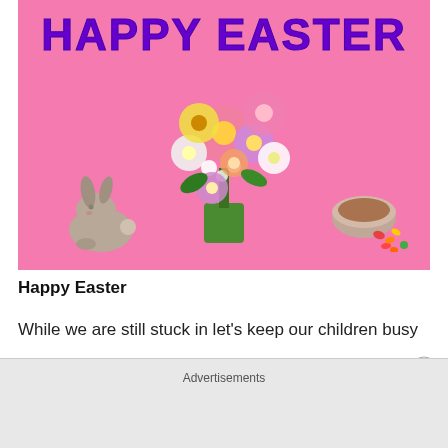[Figure (photo): Pink background Easter greeting card image with 'HAPPY EASTER' text in bold purple letters at the top, a large floral bouquet in the center with colorful flowers (pink, yellow, white, purple) in a green vase, a ceramic bunny figurine on the left, and a small decorative bowl with candy eggs on the right.]
Happy Easter
While we are still stuck in let's keep our children busy
learning in an out of life lessons that will stay with them for
Advertisements